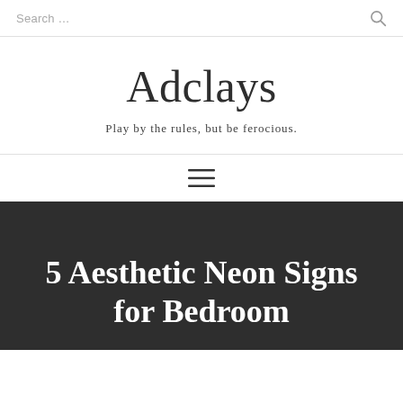Search ...
Adclays
Play by the rules, but be ferocious.
[Figure (other): Hamburger menu icon with three horizontal lines]
5 Aesthetic Neon Signs for Bedroom